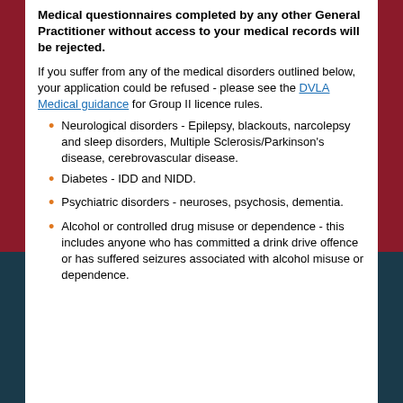Medical questionnaires completed by any other General Practitioner without access to your medical records will be rejected.
If you suffer from any of the medical disorders outlined below, your application could be refused - please see the DVLA Medical guidance for Group II licence rules.
Neurological disorders - Epilepsy, blackouts, narcolepsy and sleep disorders, Multiple Sclerosis/Parkinson’s disease, cerebrovascular disease.
Diabetes - IDD and NIDD.
Psychiatric disorders - neuroses, psychosis, dementia.
Alcohol or controlled drug misuse or dependence - this includes anyone who has committed a drink drive offence or has suffered seizures associated with alcohol misuse or dependence.